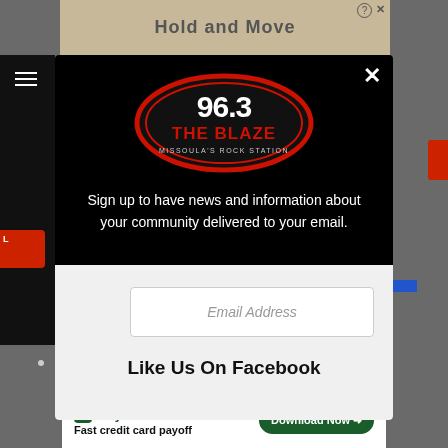[Figure (screenshot): Background website page with dark overlay, showing partial content behind a modal popup]
[Figure (logo): 96.3 The Blaze – Missoula's Rock Station logo: black oval with red ring, white text showing 96.3 and THE BLAZE, red stylized letters]
Sign up to have news and information about your community delivered to your email.
Email Address
Like Us On Facebook
[Figure (screenshot): Bottom advertisement banner: Tally – Fast credit card payoff with Download Now button]